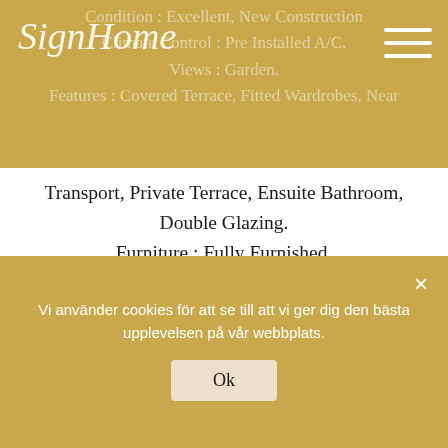SignHome
Condition : Excellent, New Construction Climate Control : Pre Installed A/C. Views : Garden. Features : Covered Terrace, Fitted Wardrobes, Near Transport, Private Terrace, Ensuite Bathroom, Double Glazing. Furniture : Fully Furnished. Kitchen : Fully Fitted. Garden : Private. Parking : Garage, Private. Utilities : Electricity, Drinkable Water. Category : Bargain, Holiday Homes, Investment, Contemporary.
Vi använder cookies för att se till att vi ger dig den bästa upplevelsen på vår webbplats.